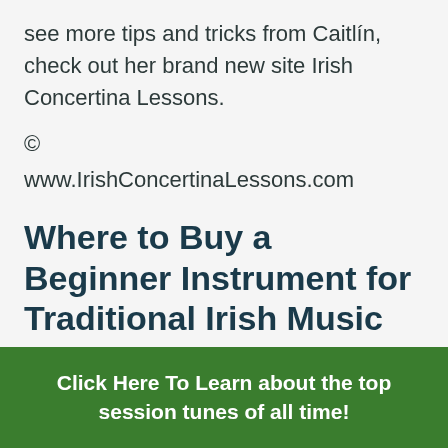see more tips and tricks from Caitlín, check out her brand new site Irish Concertina Lessons.
©
www.IrishConcertinaLessons.com
Where to Buy a Beginner Instrument for Traditional Irish Music
If Caitlín's blog has left you wanting
Click Here To Learn about the top session tunes of all time!